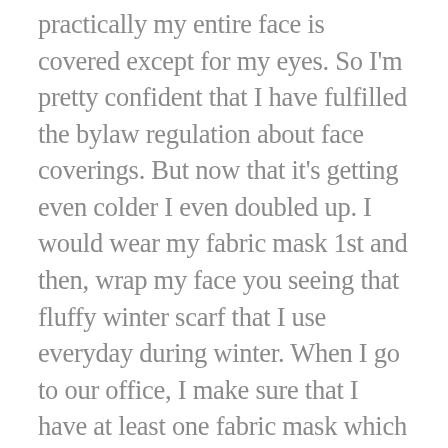practically my entire face is covered except for my eyes. So I'm pretty confident that I have fulfilled the bylaw regulation about face coverings. But now that it's getting even colder I even doubled up. I would wear my fabric mask 1st and then, wrap my face you seeing that fluffy winter scarf that I use everyday during winter. When I go to our office, I make sure that I have at least one fabric mask which is what I use when community or when I don't need to talk to people, and I make sure that I have at least one of my special masks with a plastic transparent window if I need to talk to people.